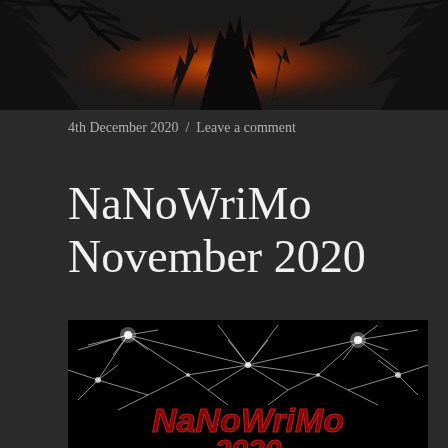[Figure (photo): Dark atmospheric photo of trees silhouetted against an orange-red fiery sky, black and white tones with orange glow in center]
4th December 2020  /  Leave a comment
NaNoWriMo November 2020
[Figure (photo): Dark image with white glowing network/web-like lines on black background, with bold red text reading 'NaNoWriMo 2020' at the bottom]